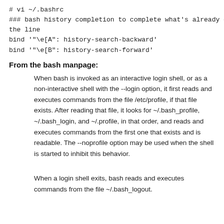# vi ~/.bashrc
### bash history completion to complete what's already on the line
bind '"\e[A": history-search-backward'
bind '"\e[B": history-search-forward'
From the bash manpage:
When bash is invoked as an interactive login shell, or as a non-interactive shell with the --login option, it first reads and executes commands from the file /etc/profile, if that file exists. After reading that file, it looks for ~/.bash_profile, ~/.bash_login, and ~/.profile, in that order, and reads and executes commands from the first one that exists and is readable. The --noprofile option may be used when the shell is started to inhibit this behavior.
When a login shell exits, bash reads and executes commands from the file ~/.bash_logout.